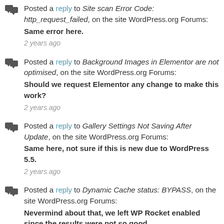Posted a reply to Site scan Error Code: http_request_failed, on the site WordPress.org Forums: Same error here. 2 years ago
Posted a reply to Background Images in Elementor are not optimised, on the site WordPress.org Forums: Should we request Elementor any change to make this work? 2 years ago
Posted a reply to Gallery Settings Not Saving After Update, on the site WordPress.org Forums: Same here, not sure if this is new due to WordPress 5.5. 2 years ago
Posted a reply to Dynamic Cache status: BYPASS, on the site WordPress.org Forums: Nevermind about that, we left WP Rocket enabled since the results were not so good... 2 years ago
Posted a reply to Dynamic Cache status: BYPASS, on the site WordPress.org Forums: